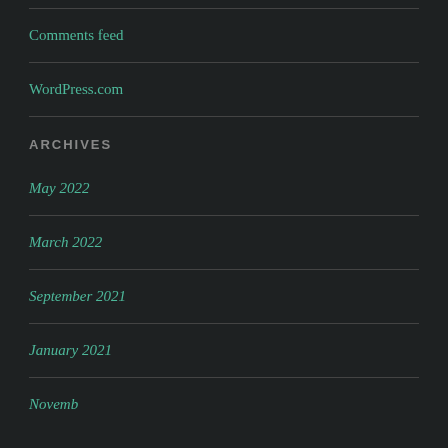Comments feed
WordPress.com
ARCHIVES
May 2022
March 2022
September 2021
January 2021
November…